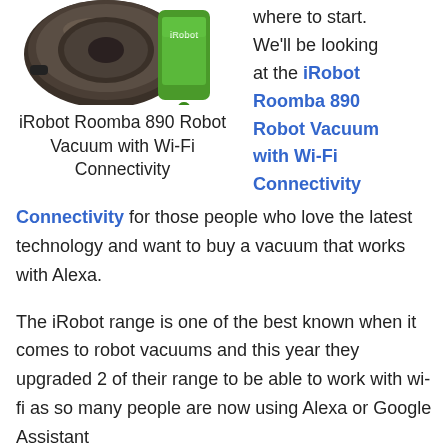[Figure (photo): iRobot Roomba 890 robot vacuum with a green smartphone showing the iRobot app, partially cropped at top]
iRobot Roomba 890 Robot Vacuum with Wi-Fi Connectivity
where to start. We'll be looking at the iRobot Roomba 890 Robot Vacuum with Wi-Fi Connectivity for those people who love the latest technology and want to buy a vacuum that works with Alexa.
The iRobot range is one of the best known when it comes to robot vacuums and this year they upgraded 2 of their range to be able to work with wi-fi as so many people are now using Alexa or Google Assistant